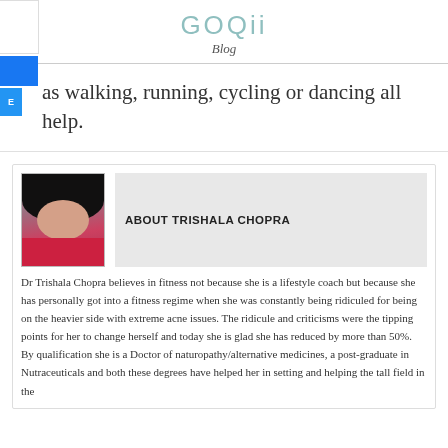GOQii Blog
as walking, running, cycling or dancing all help.
[Figure (photo): Author photo of Trishala Chopra — a young woman with dark hair]
ABOUT TRISHALA CHOPRA
Dr Trishala Chopra believes in fitness not because she is a lifestyle coach but because she has personally got into a fitness regime when she was constantly being ridiculed for being on the heavier side with extreme acne issues. The ridicule and criticisms were the tipping points for her to change herself and today she is glad she has reduced by more than 50%. By qualification she is a Doctor of naturopathy/alternative medicines, a post-graduate in Nutraceuticals and both these degrees have helped her in setting and helping the tall field in the